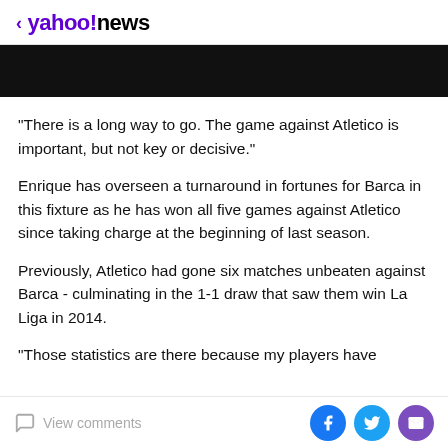< yahoo!news
[Figure (other): Black banner/image bar]
"There is a long way to go. The game against Atletico is important, but not key or decisive."
Enrique has overseen a turnaround in fortunes for Barca in this fixture as he has won all five games against Atletico since taking charge at the beginning of last season.
Previously, Atletico had gone six matches unbeaten against Barca - culminating in the 1-1 draw that saw them win La Liga in 2014.
"Those statistics are there because my players have
View comments